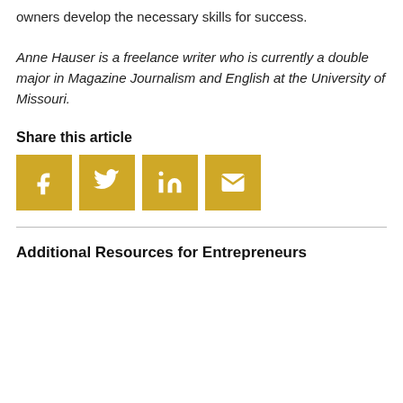owners develop the necessary skills for success.
Anne Hauser is a freelance writer who is currently a double major in Magazine Journalism and English at the University of Missouri.
Share this article
[Figure (infographic): Four social media share buttons (Facebook, Twitter, LinkedIn, Email) in gold/yellow square icons with white symbols]
Additional Resources for Entrepreneurs